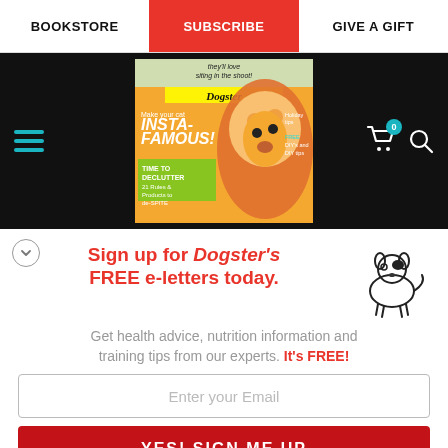BOOKSTORE | SUBSCRIBE | GIVE A GIFT
[Figure (screenshot): Website header with hamburger menu on left, partial magazine cover in center, cart icon with badge '0' and search icon on right, all on black background]
Sign up for Dogster's FREE e-letters today.
Get health advice, nutrition information and training tips from our experts. It's FREE!
Enter your Email
YES! SIGN ME UP